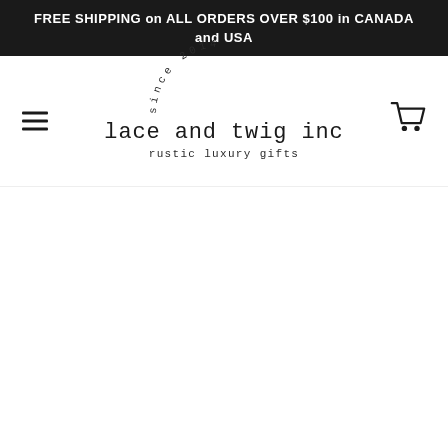FREE SHIPPING on ALL ORDERS OVER $100 in CANADA and USA
[Figure (logo): Lace and Twig Inc logo with arched text 'since 2014', main text 'lace and twig inc', tagline 'rustic luxury gifts' in monospace font]